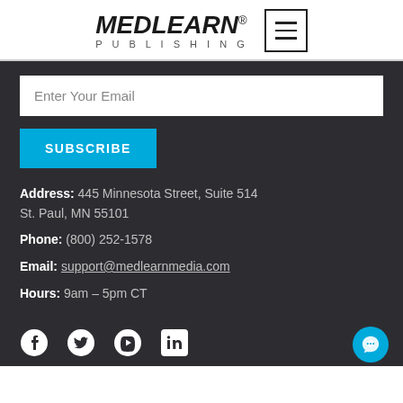[Figure (logo): MedLearn Publishing logo with menu icon]
Enter Your Email
SUBSCRIBE
Address: 445 Minnesota Street, Suite 514 St. Paul, MN 55101
Phone: (800) 252-1578
Email: support@medlearnmedia.com
Hours: 9am – 5pm CT
[Figure (illustration): Social media icons: Facebook, Twitter, YouTube, LinkedIn; chat bubble icon]